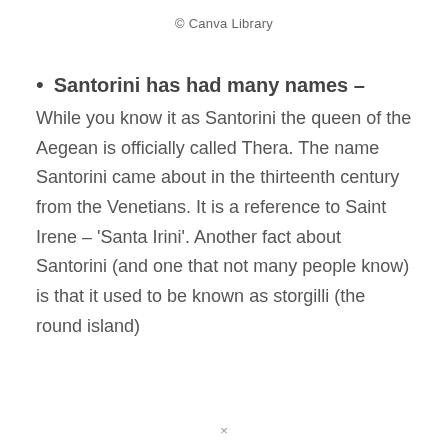© Canva Library
Santorini has had many names – While you know it as Santorini the queen of the Aegean is officially called Thera. The name Santorini came about in the thirteenth century from the Venetians. It is a reference to Saint Irene – 'Santa Irini'. Another fact about Santorini (and one that not many people know) is that it used to be known as storgilli (the round island)
×